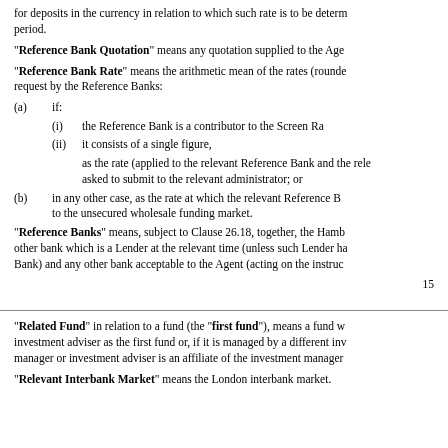for deposits in the currency in relation to which such rate is to be determined for that period.
"Reference Bank Quotation" means any quotation supplied to the Agent...
"Reference Bank Rate" means the arithmetic mean of the rates (rounded...) request by the Reference Banks:
(a) if:
(i) the Reference Bank is a contributor to the Screen Ra...
(ii) it consists of a single figure,
as the rate (applied to the relevant Reference Bank and the relevant...) asked to submit to the relevant administrator; or
(b) in any other case, as the rate at which the relevant Reference B... to the unsecured wholesale funding market.
"Reference Banks" means, subject to Clause 26.18, together, the Hamb... other bank which is a Lender at the relevant time (unless such Lender ha... Bank) and any other bank acceptable to the Agent (acting on the instruc...
15
"Related Fund" in relation to a fund (the "first fund"), means a fund w... investment adviser as the first fund or, if it is managed by a different inv... manager or investment adviser is an affiliate of the investment manager...
"Relevant Interbank Market" means the London interbank market.